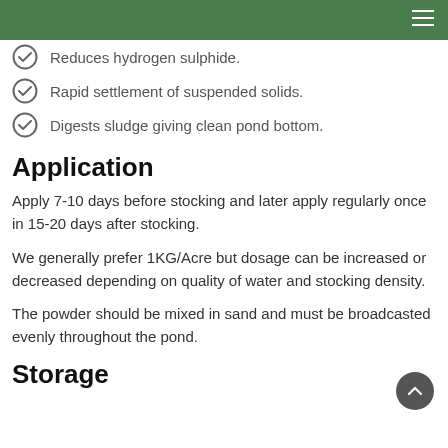Reduces hydrogen sulphide.
Rapid settlement of suspended solids.
Digests sludge giving clean pond bottom.
Application
Apply 7-10 days before stocking and later apply regularly once in 15-20 days after stocking.
We generally prefer 1KG/Acre but dosage can be increased or decreased depending on quality of water and stocking density.
The powder should be mixed in sand and must be broadcasted evenly throughout the pond.
Storage